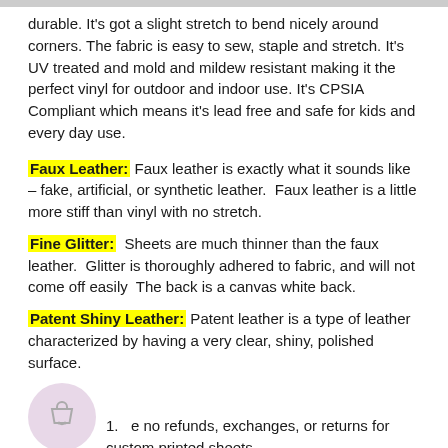durable. It's got a slight stretch to bend nicely around corners. The fabric is easy to sew, staple and stretch. It's UV treated and mold and mildew resistant making it the perfect vinyl for outdoor and indoor use. It's CPSIA Compliant which means it's lead free and safe for kids and every day use.
Faux Leather: Faux leather is exactly what it sounds like – fake, artificial, or synthetic leather.  Faux leather is a little more stiff than vinyl with no stretch.
Fine Glitter:  Sheets are much thinner than the faux leather.  Glitter is thoroughly adhered to fabric, and will not come off easily  The back is a canvas white back.
Patent Shiny Leather: Patent leather is a type of leather characterized by having a very clear, shiny, polished surface.
1.  There are no refunds, exchanges, or returns for custom printed sheets.